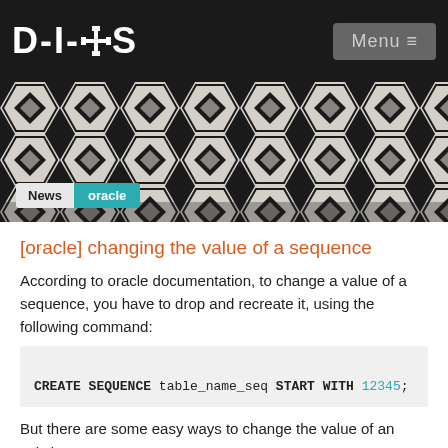DIXIS | Menu
[Figure (screenshot): DIXIS website hero banner with black and white geometric hexagonal pattern. Breadcrumb shows: News > oracle]
[oracle] changing the value of a sequence
According to oracle documentation, to change a value of a sequence, you have to drop and recreate it, using the following command:
But there are some easy ways to change the value of an existing sequence too.
If you want to increment the current value by 500, you can just use